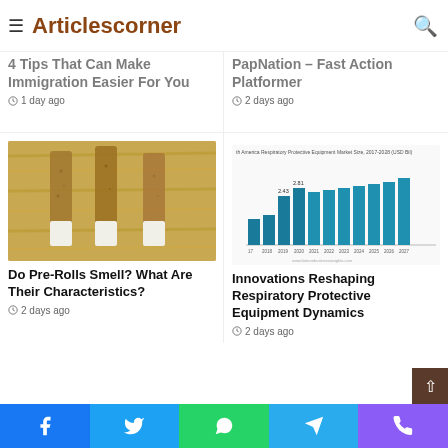Articlescorner
4 Tips That Can Make Immigration Easier For You
1 day ago
PapNation – Fast Action Platformer
2 days ago
[Figure (photo): Three cannabis pre-rolls on a wooden cutting board]
Do Pre-Rolls Smell? What Are Their Characteristics?
2 days ago
[Figure (bar-chart): th America Respiratory Protective Equipment Market Size, 2017-2028 (USD Bil)]
Innovations Reshaping Respiratory Protective Equipment Dynamics
2 days ago